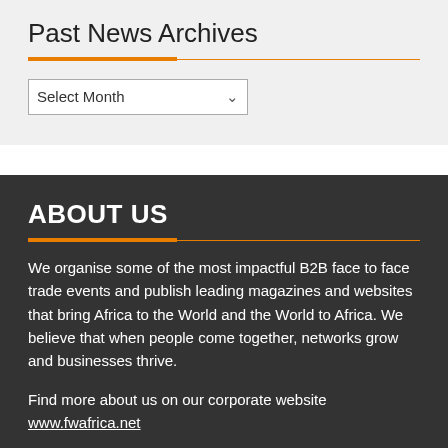Past News Archives
Select Month
ABOUT US
We organise some of the most impactful B2B face to face trade events and publish leading magazines and websites that bring Africa to the World and the World to Africa. We believe that when people come together, networks grow and businesses thrive.
Find more about us on our corporate website www.fwafrica.net